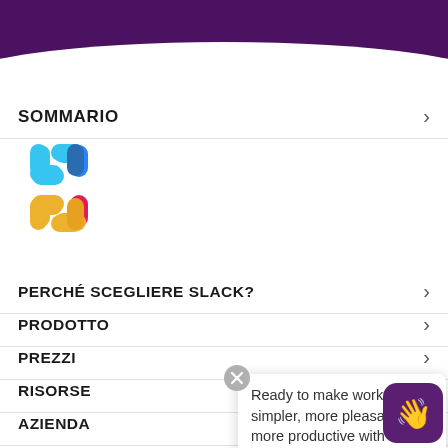[Figure (illustration): Dark purple curved header background with arc shape at bottom]
SOMMARIO
[Figure (logo): Slack logo with four colored pills arranged in a cross pattern: blue top-left, blue top-right, yellow bottom-left, yellow bottom-right]
PERCHÉ SCEGLIERE SLACK?
PRODOTTO
PREZZI
RISORSE
AZIENDA
Ready to make work simpler, more pleasant, and more productive with Slack? ✳
[Figure (illustration): Purple rounded square button with waving hand emoji]